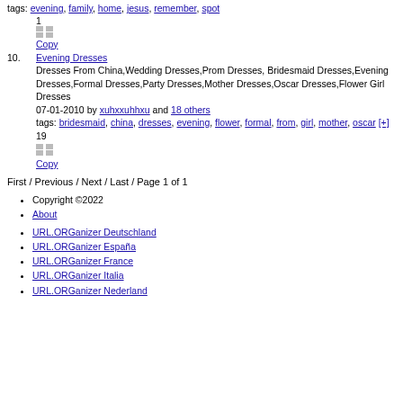tags: evening, family, home, jesus, remember, spot
1
Copy
10. Evening Dresses
Dresses From China,Wedding Dresses,Prom Dresses, Bridesmaid Dresses,Evening Dresses,Formal Dresses,Party Dresses,Mother Dresses,Oscar Dresses,Flower Girl Dresses
07-01-2010 by xuhxxuhhxu and 18 others
tags: bridesmaid, china, dresses, evening, flower, formal, from, girl, mother, oscar [+]
19
Copy
First / Previous / Next / Last / Page 1 of 1
Copyright ©2022
About
URL.ORGanizer Deutschland
URL.ORGanizer España
URL.ORGanizer France
URL.ORGanizer Italia
URL.ORGanizer Nederland